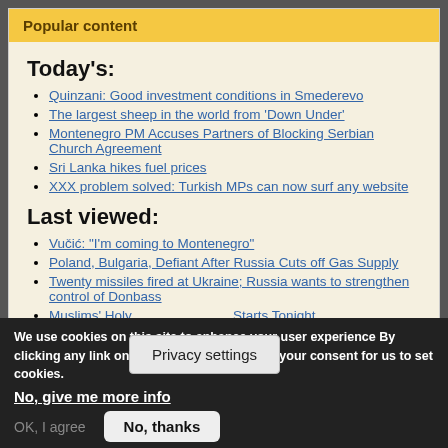Popular content
Today's:
Quinzani: Good investment conditions in Smederevo
The largest sheep in the world from 'Down Under'
Montenegro PM Accuses Partners of Blocking Serbian Church Agreement
Sri Lanka hikes fuel prices
XXX problem solved: Turkish MPs can now surf any website
Last viewed:
Vučić: "I'm coming to Montenegro"
Poland, Bulgaria, Defiant After Russia Cuts off Gas Supply
Twenty missiles fired at Ukraine; Russia wants to strengthen control of Donbass
Muslims' Holy [Month] Starts Tonight
Bulgaria: The [...] handoned at Targovishte
Privacy settings
We use cookies on this site to enhance your user experience By clicking any link on this page you are giving your consent for us to set cookies.
No, give me more info
OK, I agree   No, thanks